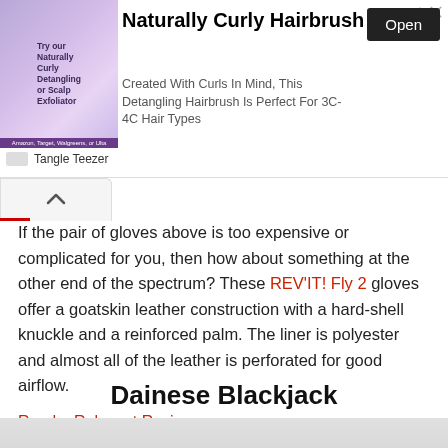[Figure (screenshot): Advertisement banner for Tangle Teezer Naturally Curly Hairbrush with product image on left, title, description, and Open button]
If the pair of gloves above is too expensive or complicated for you, then how about something at the other end of the spectrum? These REV'IT! Fly 2 gloves offer a goatskin leather construction with a hard-shell knuckle and a reinforced palm. The liner is polyester and almost all of the leather is perforated for good airflow.
Read a Relevant Review
Dainese Blackjack
[Figure (photo): Partial view of glove product image at bottom of page]